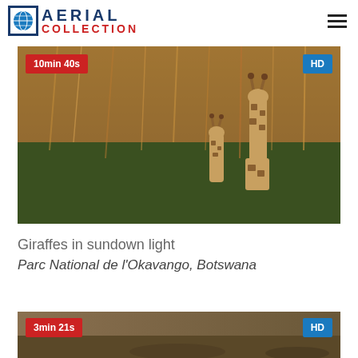AERIAL COLLECTION
[Figure (photo): Aerial/ground photograph of two giraffes among tall brown grass and green bushes in golden sundown light. Top-left badge: 10min 40s (red). Top-right badge: HD (blue).]
Giraffes in sundown light
Parc National de l'Okavango, Botswana
[Figure (photo): Partial view of a second video thumbnail showing arid/dry landscape. Top-left badge: 3min 21s (red). Top-right badge: HD (blue).]